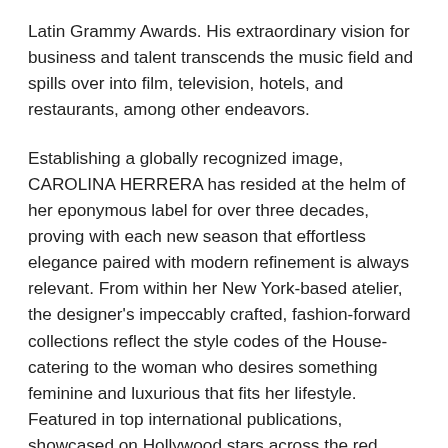Latin Grammy Awards. His extraordinary vision for business and talent transcends the music field and spills over into film, television, hotels, and restaurants, among other endeavors.
Establishing a globally recognized image, CAROLINA HERRERA has resided at the helm of her eponymous label for over three decades, proving with each new season that effortless elegance paired with modern refinement is always relevant. From within her New York-based atelier, the designer's impeccably crafted, fashion-forward collections reflect the style codes of the House-catering to the woman who desires something feminine and luxurious that fits her lifestyle. Featured in top international publications, showcased on Hollywood stars across the red carpet and frequently worn by women in the public eye, Carolina Herrera's designs are an authentic expression of the designer's stand-alone mission-to make a woman look and feel they're most beautiful.